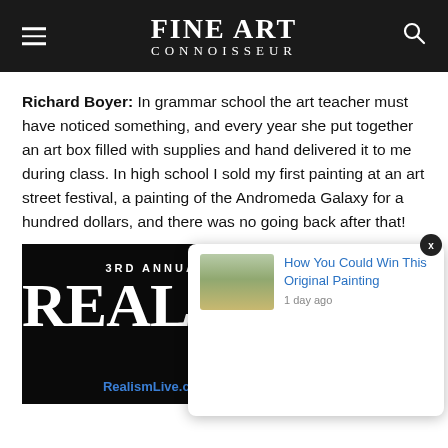FINE ART CONNOISSEUR
Richard Boyer: In grammar school the art teacher must have noticed something, and every year she put together an art box filled with supplies and hand delivered it to me during class. In high school I sold my first painting at an art street festival, a painting of the Andromeda Galaxy for a hundred dollars, and there was no going back after that!
[Figure (screenshot): Advertisement for 3rd Annual Realism event showing large white text 'REALISM' on black background with '3RD ANNUAL' above it and 'RealismLive.com' at the bottom with a blue Save the Date badge]
[Figure (screenshot): Notification popup showing a thumbnail landscape painting image and text 'How You Could Win This Original Painting' with '1 day ago' timestamp, with a close X button]
[Figure (other): Bell notification icon with orange circle, bell symbol, and red badge showing count 3]